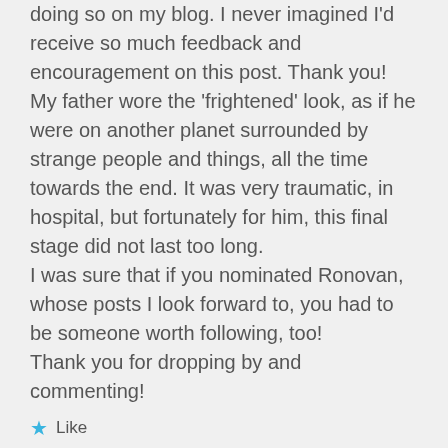doing so on my blog. I never imagined I'd receive so much feedback and encouragement on this post. Thank you! My father wore the 'frightened' look, as if he were on another planet surrounded by strange people and things, all the time towards the end. It was very traumatic, in hospital, but fortunately for him, this final stage did not last too long.
I was sure that if you nominated Ronovan, whose posts I look forward to, you had to be someone worth following, too!
Thank you for dropping by and commenting!
Like